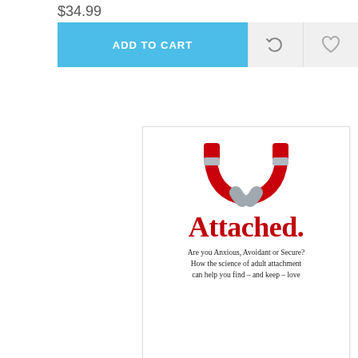$34.99
ADD TO CART
[Figure (illustration): Book cover for 'Attached.' showing two red horseshoe magnets arranged in a heart shape, with the title 'Attached.' in large red serif font and subtitle 'Are you Anxious, Avoidant or Secure? How the science of adult attachment can help you find – and keep – love']